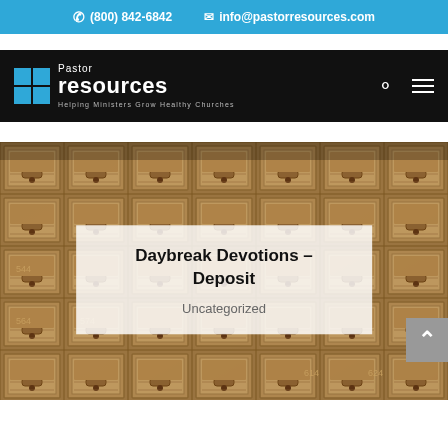(800) 842-6842   info@pastorresources.com
[Figure (logo): Pastor Resources logo with blue grid squares and white text reading 'Pastor resources — Helping Ministers Grow Healthy Churches' on black navigation bar]
[Figure (photo): Close-up photo of vintage brass/gold post office mailboxes with numbered doors (visible numbers include 544, 564, 574, 624, etc.)]
Daybreak Devotions – Deposit
Uncategorized